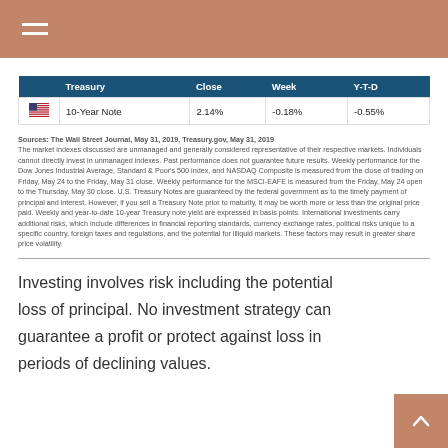|  | Treasury | Close | Week | Y-T-D |
| --- | --- | --- | --- | --- |
| 🇺🇸 | 10-Year Note | 2.14% | -0.18% | -0.55% |
Sources: The Wall Street Journal, May 31, 2019, Treasury.gov, May 31, 2019
The market indexes discussed are unmanaged and generally considered representative of their respective markets. Individuals cannot directly invest in unmanaged indexes. Past performance does not guarantee future results. Weekly performance for the Dow Jones Industrial Average, Standard & Poor's 500 index, and NASDAQ Composite is measured from the close of trading on Friday, May 24 to the Friday, May 31 close. Weekly performance for the MSCI-EAFE is measured from the Friday, May 24 open to the Thursday, May 30 close. U.S. Treasury Notes are guaranteed by the federal government as to the timely payment of principal and interest. However, if you sell a Treasury Note prior to maturity, it may be worth more or less than the original price paid. Weekly and year-to-date 10-year Treasury note yield are expressed in basis points. International investments carry additional risks, which include differences in financial reporting standards, currency exchange rates, political risks unique to a specific country, foreign taxes and regulations, and the potential for illiquid markets. These factors may result in greater share price volatility.
Investing involves risk including the potential loss of principal. No investment strategy can guarantee a profit or protect against loss in periods of declining values.